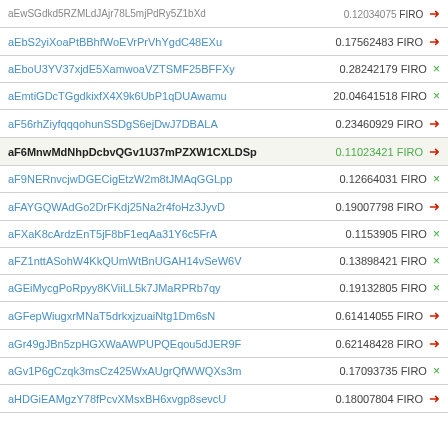| Address | Amount |
| --- | --- |
| aEwSGdkd5RZMLdJAjr78L5mjPdRy5Z1bXd | 0.12034075 FIRO ➜ |
| aEbS2yiXoaPtBBhfWoEVrPrVhYgdC48EXu | 0.17562483 FIRO ➜ |
| aEboU3YV37xjdE5XamwoaVZTSMF25BFFXy | 0.28242179 FIRO × |
| aEmtiGDcTGgdkixfX4X9k6UbP1qDUAwamu | 20.04641518 FIRO × |
| aF56rhZiyfqqqohunSSDgS6ejDwJ7DBALA | 0.23460929 FIRO ➜ |
| aF6MnwMdNhpDcbvQGv1U37mPZXW1CXLDSp | 0.11023421 FIRO ➜ |
| aF9NERnvcjwDGECigEtzW2m8tJMAqGGLpp | 0.12664031 FIRO × |
| aFAYGQWAdGo2DrFKdj25Na2r4foHz3JyvD | 0.19007798 FIRO ➜ |
| aFXaK8cArdzEnT5jF8bF1eqAa31Y6c5FrA | 0.1153905 FIRO × |
| aFZ1nttASohW4KkQUmWtBnUGAH14vSeW6V | 0.13898421 FIRO × |
| aGEiMycgPoRpyy8KViiLL5k7JMaRPRb7qy | 0.19132805 FIRO × |
| aGFepWiugxrMNaT5drkxjzuaiNtg1Dm6sN | 0.61414055 FIRO ➜ |
| aGr49gJBn5zpHGXWaAWPUPQEqou5dJER9F | 0.62148428 FIRO ➜ |
| aGv1P6gCzqk3msCz425WxAUgrQfWWQXs3m | 0.17093735 FIRO × |
| aHDGiEAMgzY78fPcvXMsxBH6xvgp8sevcU | 0.18007804 FIRO ➜ |